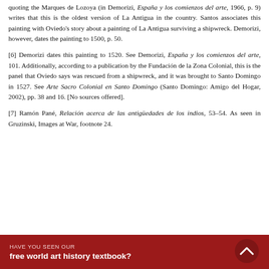quoting the Marques de Lozoya (in Demorizi, España y los comienzos del arte, 1966, p. 9) writes that this is the oldest version of La Antigua in the country. Santos associates this painting with Oviedo's story about a painting of La Antigua surviving a shipwreck. Demorizi, however, dates the painting to 1500, p. 50.
[6] Demorizi dates this painting to 1520. See Demorizi, España y los comienzos del arte, 101. Additionally, according to a publication by the Fundación de la Zona Colonial, this is the panel that Oviedo says was rescued from a shipwreck, and it was brought to Santo Domingo in 1527. See Arte Sacro Colonial en Santo Domingo (Santo Domingo: Amigo del Hogar, 2002), pp. 38 and 16. [No sources offered].
[7] Ramón Pané, Relación acerca de las antigüedades de los indios, 53–54. As seen in Gruzinski, Images at War, footnote 24.
[Figure (screenshot): Partial image strip showing a dark blue sky background with a blue circular logo icon, overlaid by a dark red promotional banner reading 'HAVE YOU SEEN OUR free world art history textbook?' with a chevron arrow icon on the right.]